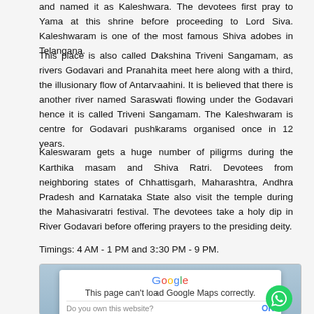and named it as Kaleshwara. The devotees first pray to Yama at this shrine before proceeding to Lord Siva. Kaleshwaram is one of the most famous Shiva adobes in Telangana.
This place is also called Dakshina Triveni Sangamam, as rivers Godavari and Pranahita meet here along with a third, the illusionary flow of Antarvaahini. It is believed that there is another river named Saraswati flowing under the Godavari hence it is called Triveni Sangamam. The Kaleshwaram is centre for Godavari pushkarams organised once in 12 years.
Kaleswaram gets a huge number of piligrms during the Karthika masam and Shiva Ratri. Devotees from neighboring states of Chhattisgarh, Maharashtra, Andhra Pradesh and Karnataka State also visit the temple during the Mahasivaratri festival. The devotees take a holy dip in River Godavari before offering prayers to the presiding deity.
Timings: 4 AM - 1 PM and 3:30 PM - 9 PM.
[Figure (screenshot): Screenshot of Google Maps error dialog saying 'This page can't load Google Maps correctly.' with 'Do you own this website?' and 'OK' button, overlaid on a map background with a WhatsApp button in the corner.]